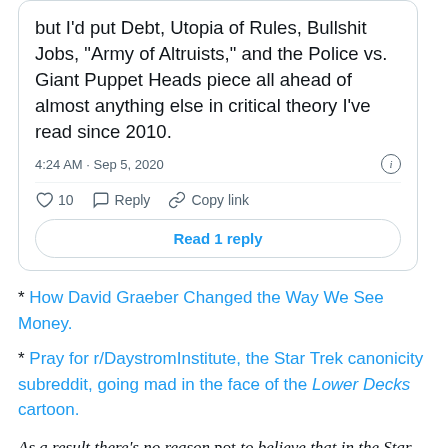[Figure (screenshot): Tweet card showing partial tweet text ending with 'but I'd put Debt, Utopia of Rules, Bullshit Jobs, "Army of Altruists," and the Police vs. Giant Puppet Heads piece all ahead of almost anything else in critical theory I've read since 2010.' with timestamp 4:24 AM · Sep 5, 2020, 10 likes, Reply and Copy link actions, and a 'Read 1 reply' button.]
* How David Graeber Changed the Way We See Money.
* Pray for r/DaystromInstitute, the Star Trek canonicity subreddit, going mad in the face of the Lower Decks cartoon.
As a result there's no reason not to believe that in the Star Trek universe, the universe is (and always has been)